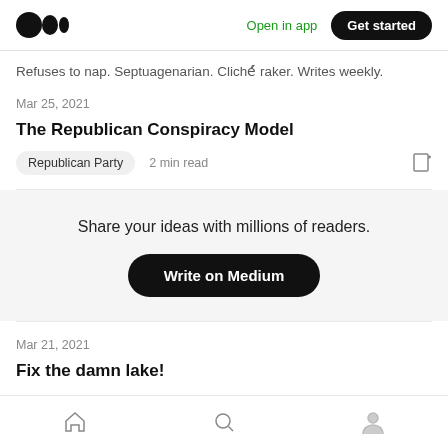Medium logo | Open in app | Get started
Refuses to nap. Septuagenarian. Cliché raker. Writes weekly.
Mar 25, 2021
The Republican Conspiracy Model
Republican Party  2 min read
Share your ideas with millions of readers.
Write on Medium
Mar 21, 2021
Fix the damn lake!